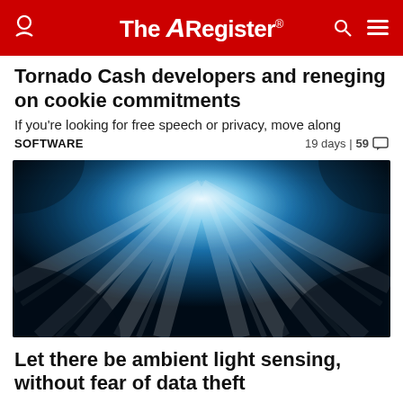The Register
Tornado Cash developers and reneging on cookie commitments
If you're looking for free speech or privacy, move along
SOFTWARE | 19 days | 59 comments
[Figure (photo): Underwater scene with light rays beaming down through dark blue water]
Let there be ambient light sensing, without fear of data theft